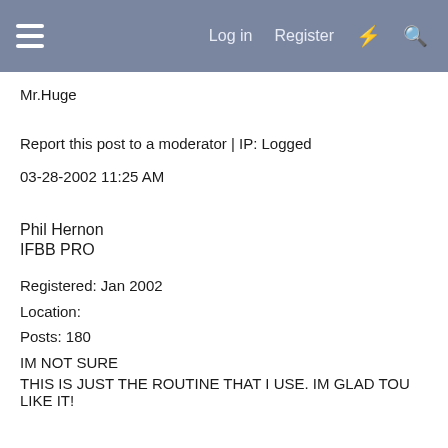Log in  Register
Mr.Huge
Report this post to a moderator | IP: Logged
03-28-2002 11:25 AM
Phil Hernon
IFBB PRO
Registered: Jan 2002
Location:
Posts: 180
IM NOT SURE
THIS IS JUST THE ROUTINE THAT I USE. IM GLAD TOU LIKE IT!...